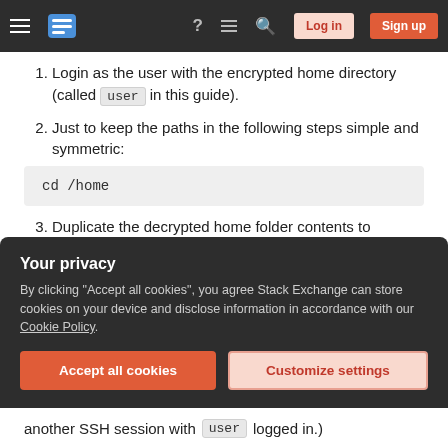Stack Exchange navigation bar with hamburger menu, logo, icons, Log in and Sign up buttons
Login as the user with the encrypted home directory (called user in this guide).
Just to keep the paths in the following steps simple and symmetric:
Duplicate the decrypted home folder contents to another directory.
Your privacy — By clicking "Accept all cookies", you agree Stack Exchange can store cookies on your device and disclose information in accordance with our Cookie Policy.
another SSH session with user logged in.)